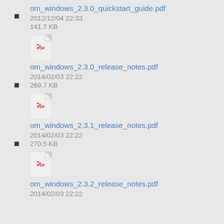om_windows_2.3.0_quickstart_guide.pdf
2012/12/04 22:33
141.7 KB
om_windows_2.3.0_release_notes.pdf
2014/02/03 22:22
269.7 KB
om_windows_2.3.1_release_notes.pdf
2014/02/03 22:22
270.5 KB
om_windows_2.3.2_release_notes.pdf
2014/02/03 22:22